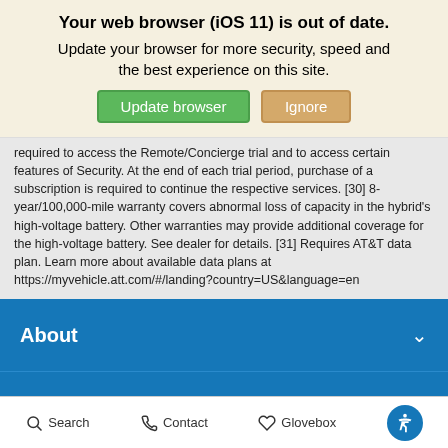Your web browser (iOS 11) is out of date. Update your browser for more security, speed and the best experience on this site.
required to access the Remote/Concierge trial and to access certain features of Security. At the end of each trial period, purchase of a subscription is required to continue the respective services. [30] 8-year/100,000-mile warranty covers abnormal loss of capacity in the hybrid’s high-voltage battery. Other warranties may provide additional coverage for the high-voltage battery. See dealer for details. [31] Requires AT&T data plan. Learn more about available data plans at https://myvehicle.att.com/#/landing?country=US&language=en
About
Inventory
Service
Search   Contact   Glovebox